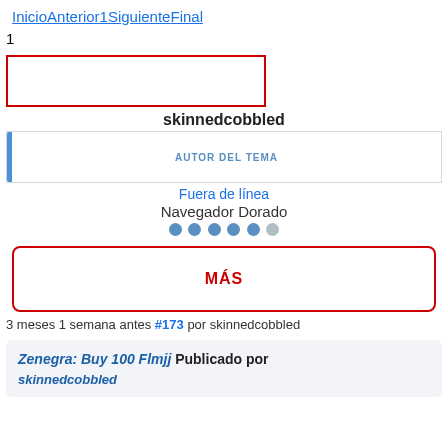InicioAnterior1SiguienteFinal
1
[Figure (other): Red bordered empty input/text box]
skinnedcobbled
AUTOR DEL TEMA
Fuera de línea
Navegador Dorado
[Figure (other): Six dots rating indicator: 5 filled blue dots and 1 grey dot]
MÁS
3 meses 1 semana antes #173 por skinnedcobbled
Zenegra: Buy 100 Flmjj Publicado por skinnedcobbled